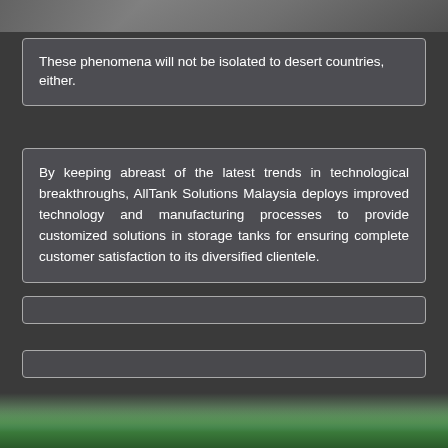[Figure (photo): Top portion of an outdoor photo, partially visible at the top of the page]
These phenomena will not be isolated to desert countries, either.
By keeping abreast of the latest trends in technological breakthroughs, AllTank Solutions Malaysia deploys improved technology and manufacturing processes to provide customized solutions in storage tanks for ensuring complete customer satisfaction to its diversified clientele.
[Figure (photo): Bottom portion of an outdoor photo showing trees and sky, partially visible at the bottom of the page]